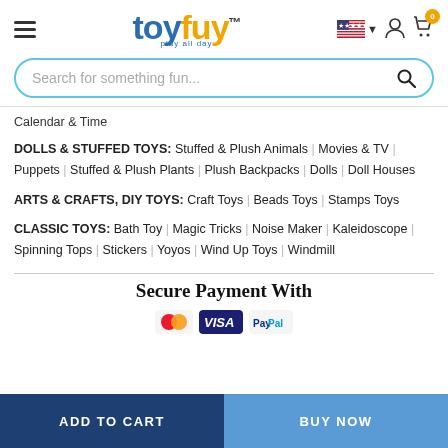toyfuy - play all day
Search for something fun...
Calendar & Time
DOLLS & STUFFED TOYS: Stuffed & Plush Animals | Movies & TV | Puppets | Stuffed & Plush Plants | Plush Backpacks | Dolls | Doll Houses
ARTS & CRAFTS, DIY TOYS: Craft Toys | Beads Toys | Stamps Toys
CLASSIC TOYS: Bath Toy | Magic Tricks | Noise Maker | Kaleidoscope | Spinning Tops | Stickers | Yoyos | Wind Up Toys | Windmill
Secure Payment With
ADD TO CART    BUY NOW